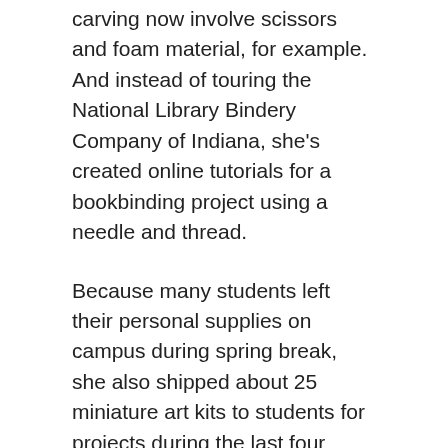carving now involve scissors and foam material, for example. And instead of touring the National Library Bindery Company of Indiana, she's created online tutorials for a bookbinding project using a needle and thread.
Because many students left their personal supplies on campus during spring break, she also shipped about 25 miniature art kits to students for projects during the last four weeks of the semester.
“This is not the ideal situation, but we’re doing our best to make these classes meaningful for students even though we can’t be together,” Fries said.
Related: School of Occupational Therapy employs creativity in time of pandemic